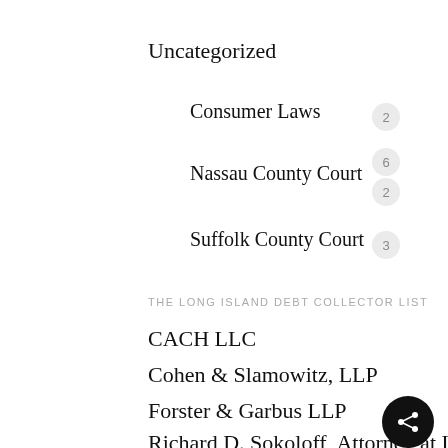Uncategorized
Consumer Laws  2
Nassau County Court  6  2
Suffolk County Court  3
THE LONG ISLAND DEBT COLLECTOR LIST
CACH LLC
Cohen & Slamowitz, LLP
Forster & Garbus LLP
Richard D. Sokoloff, Attorney at Law